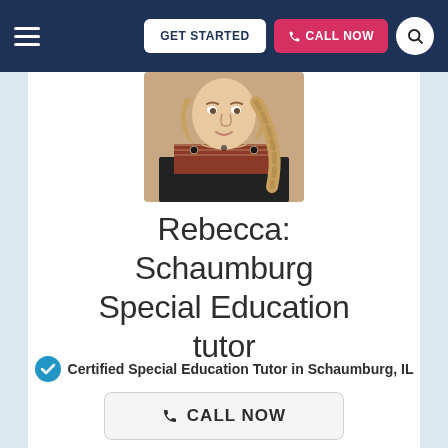GET STARTED | CALL NOW
[Figure (photo): Profile photo of Rebecca, a woman with braided blonde hair wearing a patterned top with a necklace]
Rebecca: Schaumburg Special Education tutor
Certified Special Education Tutor in Schaumburg, IL
CALL NOW